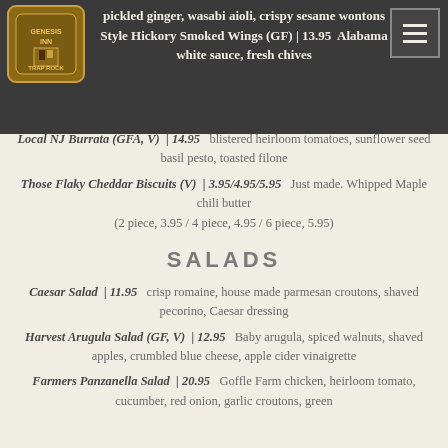pickled ginger, wasabi aioli, crispy sesame wontons | Style Hickory Smoked Wings (GF) | 13.95 Alabama white sauce, fresh chives
Local NJ Burrata (GFA, V) | 14.95   blistered heirloom tomatoes, sunflower seed basil pesto, toasted filone
Those Flaky Cheddar Biscuits (V) | 3.95/4.95/5.95   Just made. Whipped Maple chili butter (2 piece, 3.95 / 4 piece, 4.95 / 6 piece, 5.95)
SALADS
Caesar Salad | 11.95   crisp romaine, house made parmesan croutons, shaved pecorino, Caesar dressing
Harvest Arugula Salad (GF, V) | 12.95   Baby arugula, spiced walnuts, shaved apples, crumbled blue cheese, apple cider vinaigrette
Farmers Panzanella Salad | 20.95   Goffle Farm chicken, heirloom tomato, cucumber, red onion, garlic croutons, green